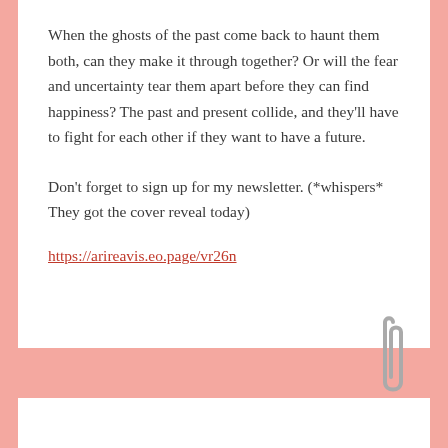When the ghosts of the past come back to haunt them both, can they make it through together? Or will the fear and uncertainty tear them apart before they can find happiness? The past and present collide, and they'll have to fight for each other if they want to have a future.
Don't forget to sign up for my newsletter. (*whispers* They got the cover reveal today)
https://arireavis.eo.page/vr26n
[Figure (illustration): Bottom portion showing a pink background section with a paperclip illustration on the right side and a partial floral/hand illustration at the bottom left, with a white card beginning at the very bottom edge.]